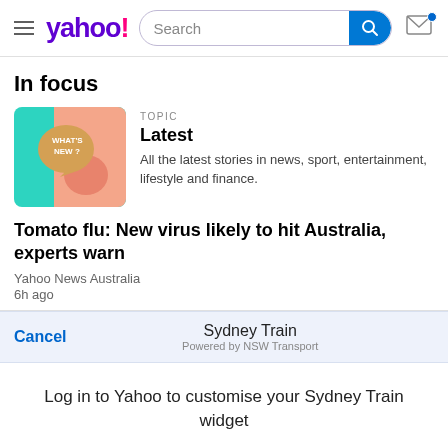yahoo! — Search bar — Mail icon
In focus
[Figure (illustration): Image of a hand holding a speech bubble sign that says 'WHAT'S NEW?' on a teal and pink background]
TOPIC
Latest
All the latest stories in news, sport, entertainment, lifestyle and finance.
Tomato flu: New virus likely to hit Australia, experts warn
Yahoo News Australia
6h ago
Cancel
Sydney Train
Powered by NSW Transport
Log in to Yahoo to customise your Sydney Train widget